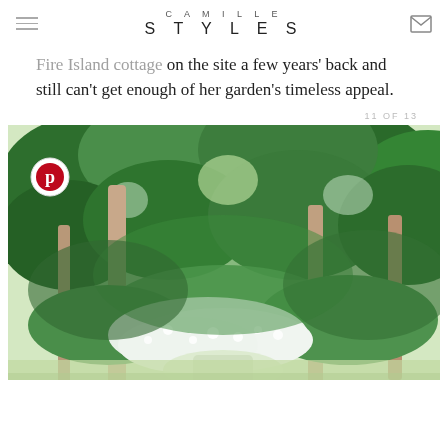CAMILLE STYLES
Fire Island cottage on the site a few years' back and still can't get enough of her garden's timeless appeal.
11 OF 13
[Figure (photo): A lush garden scene with tall trees forming a canopy, white flowering shrubs below, and a path visible through the verdant foliage. A Pinterest button overlay appears in the top-left corner of the photo.]